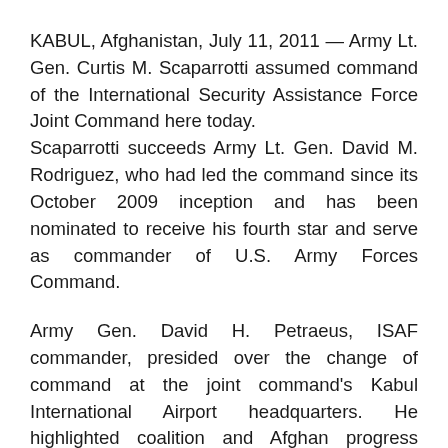KABUL, Afghanistan, July 11, 2011 — Army Lt. Gen. Curtis M. Scaparrotti assumed command of the International Security Assistance Force Joint Command here today. Scaparrotti succeeds Army Lt. Gen. David M. Rodriguez, who had led the command since its October 2009 inception and has been nominated to receive his fourth star and serve as commander of U.S. Army Forces Command.
Army Gen. David H. Petraeus, ISAF commander, presided over the change of command at the joint command's Kabul International Airport headquarters. He highlighted coalition and Afghan progress under